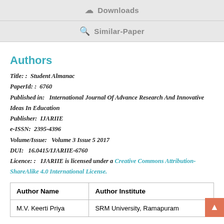Downloads
Similar-Paper
Authors
Title: :  Student Almanac
PaperId: :  6760
Published in:   International Journal Of Advance Research And Innovative Ideas In Education
Publisher:  IJARIIE
e-ISSN:  2395-4396
Volume/Issue:   Volume 3 Issue 5 2017
DUI:   16.0415/IJARIIE-6760
Licence: :   IJARIIE is licensed under a Creative Commons Attribution-ShareAlike 4.0 International License.
| Author Name | Author Institute |
| --- | --- |
| M.V. Keerti Priya | SRM University, Ramapuram |